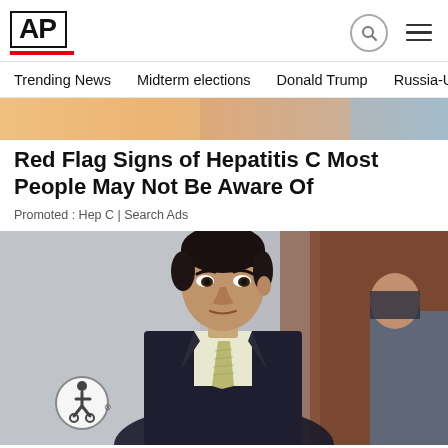AP
Trending News   Midterm elections   Donald Trump   Russia-Ukr
[Figure (photo): Partial view of a person's face/head from an advertisement strip at the top of an article]
Red Flag Signs of Hepatitis C Most People May Not Be Aware Of
Promoted : Hep C | Search Ads
[Figure (photo): A young man in a dark suit with a light yellow-green tie stands in what appears to be a courtroom. He has short dark hair and a serious expression. An accessibility icon circle is visible in the lower left of the image.]